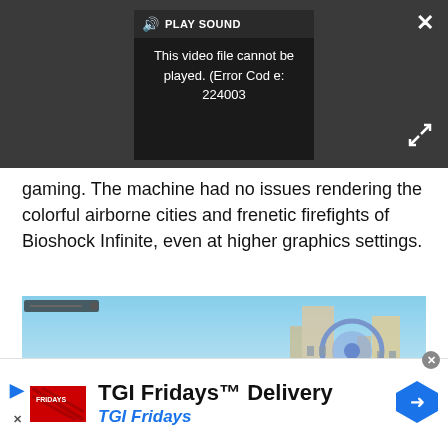[Figure (screenshot): Video player with error message: 'This video file cannot be played. (Error Code: 224003)' with PLAY SOUND button and close/expand controls on dark background]
gaming. The machine had no issues rendering the colorful airborne cities and frenetic firefights of Bioshock Infinite, even at higher graphics settings.
[Figure (screenshot): Bioshock Infinite game screenshot showing colorful airborne city with clouds and ornate buildings]
[Figure (screenshot): TGI Fridays advertisement banner: 'TGI Fridays™ Delivery' with TGI Fridays logo and navigation arrow icon]